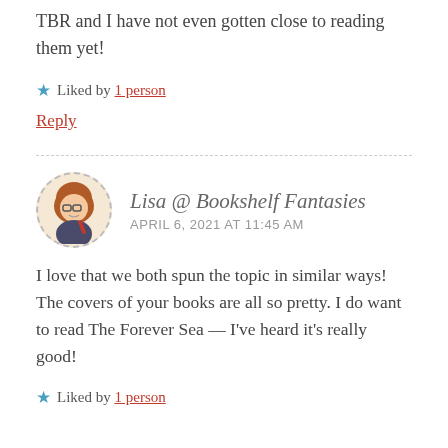TBR and I have not even gotten close to reading them yet!
★ Liked by 1 person
Reply
Lisa @ Bookshelf Fantasies
APRIL 6, 2021 AT 11:45 AM
I love that we both spun the topic in similar ways! The covers of your books are all so pretty. I do want to read The Forever Sea — I've heard it's really good!
★ Liked by 1 person